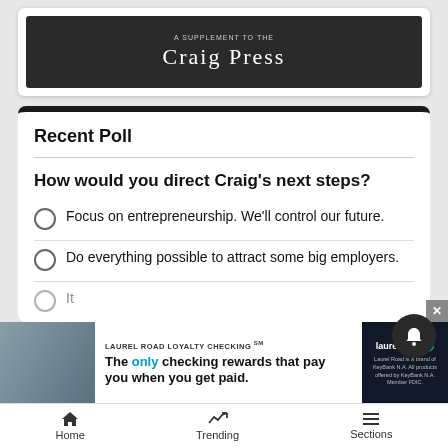[Figure (screenshot): Craig Press newspaper supplement header image with dark background]
Recent Poll
How would you direct Craig's next steps?
Focus on entrepreneurship. We'll control our future.
Do everything possible to attract some big employers.
It...
[Figure (advertisement): Laurel Road Loyalty Checking ad - The only checking rewards that pay you when you get paid.]
Home   Trending   Sections